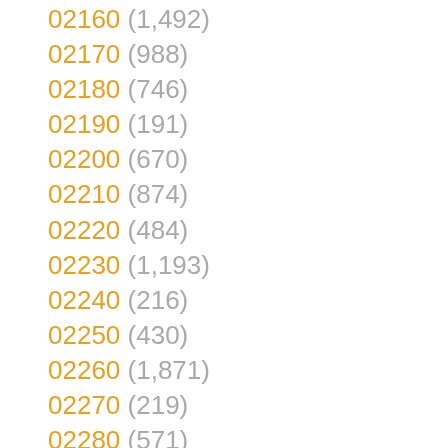02160 (1,492)
02170 (988)
02180 (746)
02190 (191)
02200 (670)
02210 (874)
02220 (484)
02230 (1,193)
02240 (216)
02250 (430)
02260 (1,871)
02270 (219)
02280 (571)
03 (8)
03010 (969)
03020 (307)